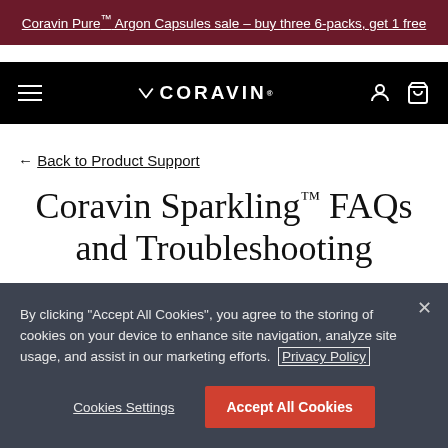Coravin Pure™ Argon Capsules sale – buy three 6-packs, get 1 free
[Figure (screenshot): Coravin navigation bar with hamburger menu, Coravin logo, user and cart icons on black background]
← Back to Product Support
Coravin Sparkling™ FAQs and Troubleshooting
By clicking "Accept All Cookies", you agree to the storing of cookies on your device to enhance site navigation, analyze site usage, and assist in our marketing efforts. Privacy Policy
Cookies Settings  Accept All Cookies